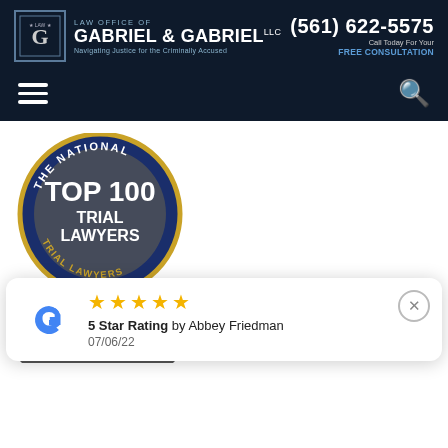Law Office of Gabriel & Gabriel LLC — Navigating Justice for the Criminally Accused | (561) 622-5575 | Call Today For Your FREE CONSULTATION
[Figure (logo): Law Office of Gabriel & Gabriel LLC logo with G emblem in bordered box]
[Figure (logo): The National Trial Lawyers Top 100 Trial Lawyers circular badge — navy blue and gold]
[Figure (logo): DUI Defense Lawyers Association badge with Founding Member text — dark grey and red]
[Figure (screenshot): Google review popup showing 5 star rating by Abbey Friedman on 07/06/22]
5 Star Rating by Abbey Friedman
07/06/22